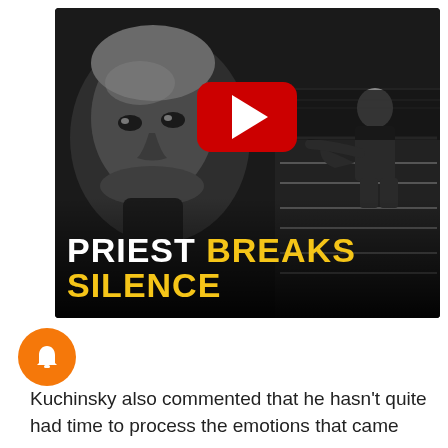[Figure (screenshot): YouTube video thumbnail showing 'PRIEST BREAKS SILENCE' — black-and-white image of a man's face on the left, a kneeling priest in church pews on the right, large YouTube play button in center, white bold text 'PRIEST' and yellow bold text 'BREAKS SILENCE' at bottom]
Kuchinsky also commented that he hasn't quite had time to process the emotions that came